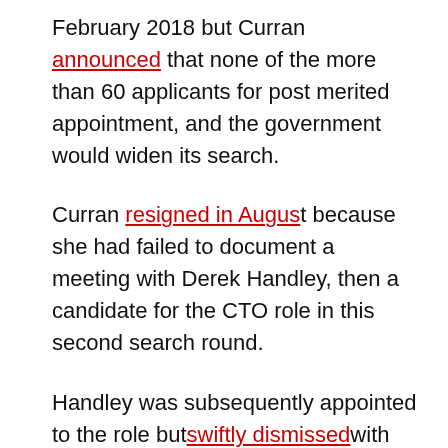February 2018 but Curran announced that none of the more than 60 applicants for post merited appointment, and the government would widen its search.
Curran resigned in August because she had failed to document a meeting with Derek Handley, then a candidate for the CTO role in this second search round.
Handley was subsequently appointed to the role but swiftly dismissed with Curran's successor Megan Woods saying the government was reconsidering its approach to digital transformation for New Zealand.